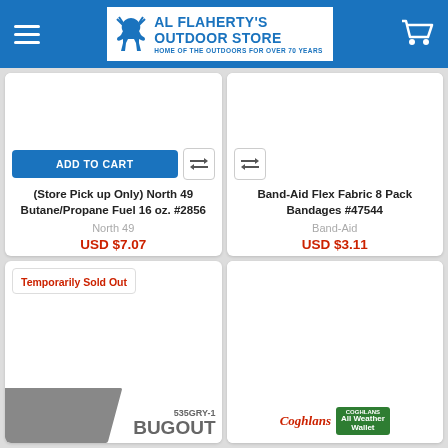Al Flaherty's Outdoor Store — Home of the Outdoors for Over 70 Years
(Store Pick up Only) North 49 Butane/Propane Fuel 16 oz. #2856 — North 49 — USD $7.07
Band-Aid Flex Fabric 8 Pack Bandages #47544 — Band-Aid — USD $3.11
Temporarily Sold Out — 535GRY-1 BUGOUT
[Figure (photo): Coghlans All Weather Wallet product image]